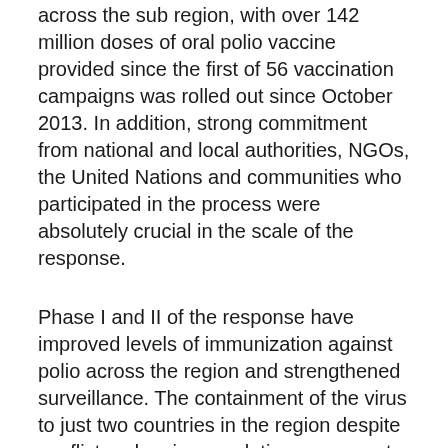across the sub region, with over 142 million doses of oral polio vaccine provided since the first of 56 vaccination campaigns was rolled out since October 2013. In addition, strong commitment from national and local authorities, NGOs, the United Nations and communities who participated in the process were absolutely crucial in the scale of the response.
Phase I and II of the response have improved levels of immunization against polio across the region and strengthened surveillance. The containment of the virus to just two countries in the region despite conflict and major population movements was commended. The review also showed that during phase II, efforts were made to improve basic immunization services for internally displaced people and refugees, especially in high risk